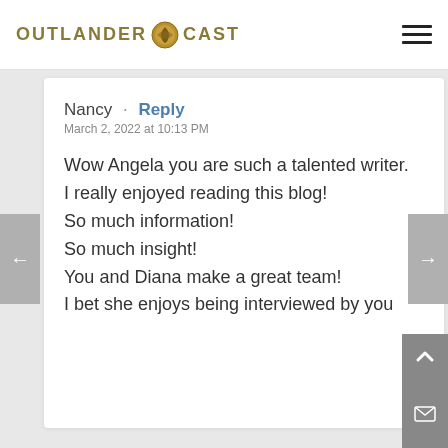OUTLANDER CAST
Nancy · Reply
March 2, 2022 at 10:13 PM

Wow Angela you are such a talented writer.
I really enjoyed reading this blog!
So much information!
So much insight!
You and Diana make a great team!
I bet she enjoys being interviewed by you